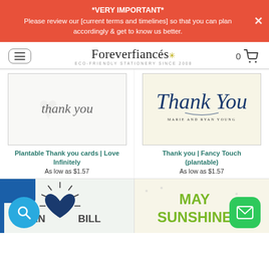*VERY IMPORTANT* Please review our [current terms and timelines] so that you can plan accordingly & get to know us better.
[Figure (screenshot): Foreverfiancés website header with hamburger menu, logo, and cart icon]
[Figure (photo): Plantable Thank you card with handwritten 'thank you' script on white background]
Plantable Thank you cards | Love Infinitely
As low as $1.57
[Figure (photo): Thank you Fancy Touch plantable card with elegant script on cream background, Marie and Ryan Young]
Thank you | Fancy Touch (plantable)
As low as $1.57
[Figure (photo): Partial view of card with EN and BILL text with heart design]
[Figure (photo): Partial view of card with MAY SUNSHINE text in green]